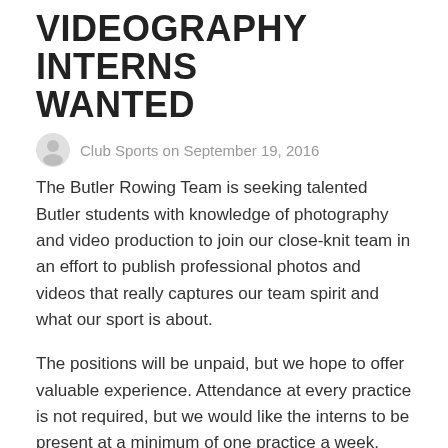VIDEOGRAPHY INTERNS WANTED
Club Sports on September 19, 2016
The Butler Rowing Team is seeking talented Butler students with knowledge of photography and video production to join our close-knit team in an effort to publish professional photos and videos that really captures our team spirit and what our sport is about.
The positions will be unpaid, but we hope to offer valuable experience. Attendance at every practice is not required, but we would like the interns to be present at a minimum of one practice a week. Attendance at regattas would also be appreciated, but not mandatory.
Inquiries can be made to the team's president, Caitlin Ladd at crewclub@butler.edu.